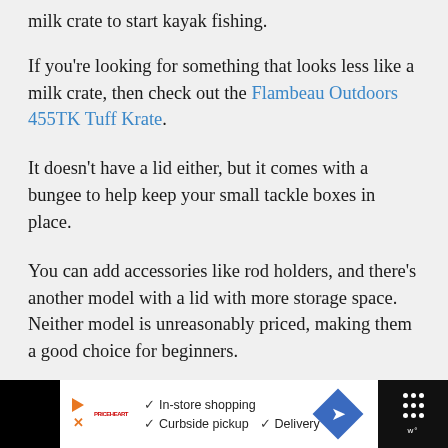milk crate to start kayak fishing.
If you're looking for something that looks less like a milk crate, then check out the Flambeau Outdoors 455TK Tuff Krate.
It doesn't have a lid either, but it comes with a bungee to help keep your small tackle boxes in place.
You can add accessories like rod holders, and there's another model with a lid with more storage space. Neither model is unreasonably priced, making them a good choice for beginners.
[Figure (screenshot): Advertisement bar at the bottom showing store shopping options: In-store shopping, Curbside pickup, Delivery with a blue navigation arrow icon]